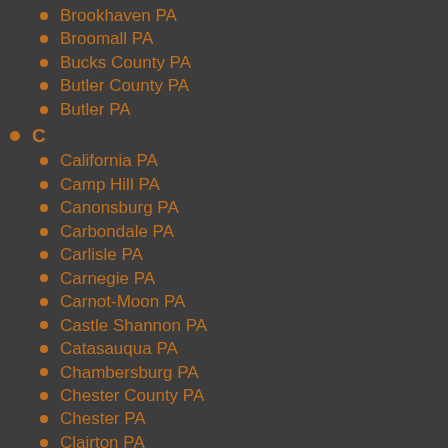Brookhaven PA
Broomall PA
Bucks County PA
Butler County PA
Butler PA
C
California PA
Camp Hill PA
Canonsburg PA
Carbondale PA
Carlisle PA
Carnegie PA
Carnot-Moon PA
Castle Shannon PA
Catasauqua PA
Chambersburg PA
Chester County PA
Chester PA
Clairton PA
Clearfield PA
Clifton Heights PA
Coatesville PA
Collingdale PA